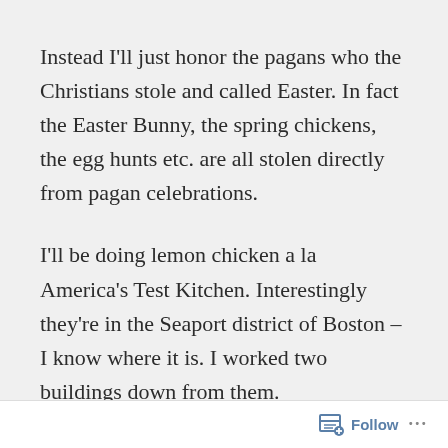Instead I'll just honor the pagans who the Christians stole and called Easter. In fact the Easter Bunny, the spring chickens, the egg hunts etc. are all stolen directly from pagan celebrations.
I'll be doing lemon chicken a la America's Test Kitchen. Interestingly they're in the Seaport district of Boston – I know where it is. I worked two buildings down from them.
It's just chicken parts, salt, pepper, flour on the
Follow